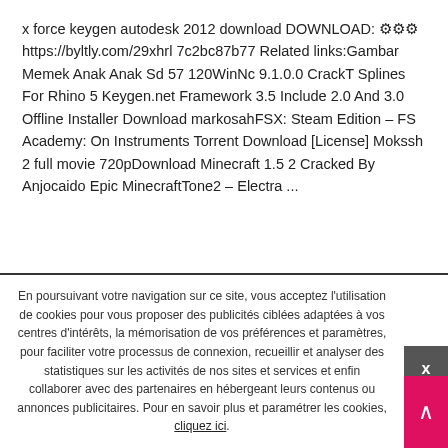x force keygen autodesk 2012 download DOWNLOAD: ⚙⚙⚙ https://byltly.com/29xhrl 7c2bc87b77 Related links:Gambar Memek Anak Anak Sd 57 120WinNc 9.1.0.0 CrackT Splines For Rhino 5 Keygen.net Framework 3.5 Include 2.0 And 3.0 Offline Installer Download markosahFSX: Steam Edition – FS Academy: On Instruments Torrent Download [License] Mokssh 2 full movie 720pDownload Minecraft 1.5 2 Cracked By Anjocaido Epic MinecraftTone2 – Electra ...
🔴 ((HOT)) Paan Singh Tomar 2012 Hindi 720p Dvdrip
En poursuivant votre navigation sur ce site, vous acceptez l'utilisation de cookies pour vous proposer des publicités ciblées adaptées à vos centres d'intérêts, la mémorisation de vos préférences et paramètres, pour faciliter votre processus de connexion, recueillir et analyser des statistiques sur les activités de nos sites et services et enfin collaborer avec des partenaires en hébergeant leurs contenus ou annonces publicitaires. Pour en savoir plus et paramétrer les cookies, cliquez ici.